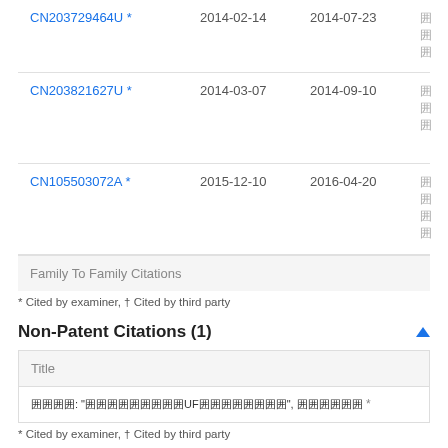| Patent | Filing Date | Publication Date | Description |
| --- | --- | --- | --- |
| CN203729464U * | 2014-02-14 | 2014-07-23 | 囲囲囲 |
| CN203821627U * | 2014-03-07 | 2014-09-10 | 囲囲囲 |
| CN105503072A * | 2015-12-10 | 2016-04-20 | 囲囲囲囲 |
| Family To Family Citations |  |  |  |
* Cited by examiner, † Cited by third party
Non-Patent Citations (1)
| Title |
| --- |
| 囲囲囲囲: "囲囲囲囲囲囲囲囲囲UF囲囲囲囲囲囲囲囲", 囲囲囲囲囲囲 * |
* Cited by examiner, † Cited by third party